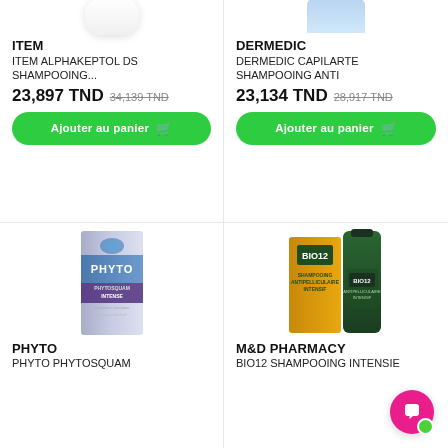[Figure (photo): Partial product image of ITEM ALPHAKEPTOL DS shampoo bottle, cut off at top]
ITEM
ITEM ALPHAKEPTOL DS SHAMPOOING...
23,897 TND  34,139 TND
[Figure (other): Add to cart button with shopping cart icon: Ajouter au panier]
[Figure (photo): Partial product image of DERMEDIC CAPILARTE shampoo, cut off at top]
DERMEDIC
DERMEDIC CAPILARTE SHAMPOOING ANTI
23,134 TND  28,917 TND
[Figure (other): Add to cart button with shopping cart icon: Ajouter au panier]
[Figure (photo): PHYTO PHYTOSQUAM INTENSE shampoo box, purple/silver packaging]
PHYTO
PHYTO PHYTOSQUAM
[Figure (photo): BIO12 shampooing intensif, green bottle with yellow/orange box packaging, M&D PHARMACY brand]
M&D PHARMACY
BIO12 SHAMPOOING INTENSIE